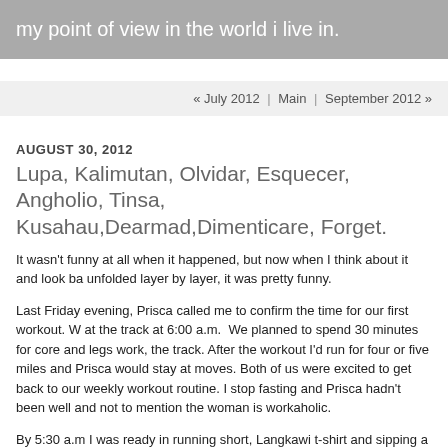my point of view in the world i live in.
« July 2012 | Main | September 2012 »
AUGUST 30, 2012
Lupa, Kalimutan, Olvidar, Esquecer, Angholio, Tinsa, Kusahau,Dearmad,Dimenticare, Forget.
It wasn't funny at all when it happened, but now when I think about it and look ba unfolded layer by layer, it was pretty funny.
Last Friday evening, Prisca called me to confirm the time for our first workout. W at the track at 6:00 a.m.  We planned to spend 30 minutes for core and legs work, the track. After the workout I'd run for four or five miles and Prisca would stay at moves. Both of us were excited to get back to our weekly workout routine. I stop fasting and Prisca hadn't been well and not to mention the woman is workaholic.
By 5:30 a.m I was ready in running short, Langkawi t-shirt and sipping a fresh br of lightly buttered pumpernickel toast. After I rinsed the coffee mug, I went back health insurance card from my backpack. When I reached the inside pocket of ba purse, the pocket was empty. My heart skipped a beat. I had everything in that ole